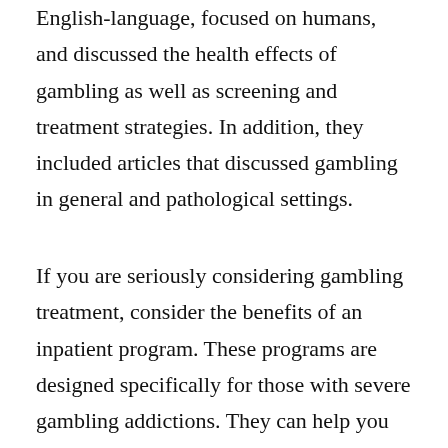English-language, focused on humans, and discussed the health effects of gambling as well as screening and treatment strategies. In addition, they included articles that discussed gambling in general and pathological settings.
If you are seriously considering gambling treatment, consider the benefits of an inpatient program. These programs are designed specifically for those with severe gambling addictions. They can help you overcome your addiction by combining the benefits of online therapy with the support